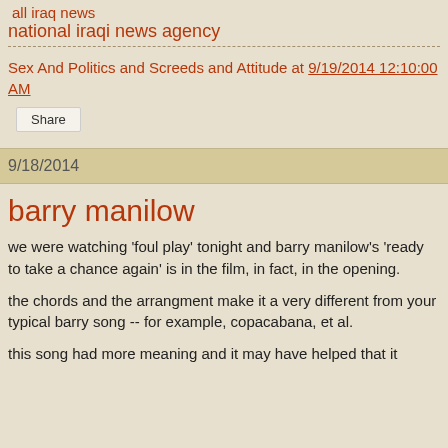all iraq news
national iraqi news agency
Sex And Politics and Screeds and Attitude at 9/19/2014 12:10:00 AM
Share
9/18/2014
barry manilow
we were watching 'foul play' tonight and barry manilow's 'ready to take a chance again' is in the film, in fact, in the opening.
the chords and the arrangment make it a very different from your typical barry song -- for example, copacabana, et al.
this song had more meaning and it may have helped that it